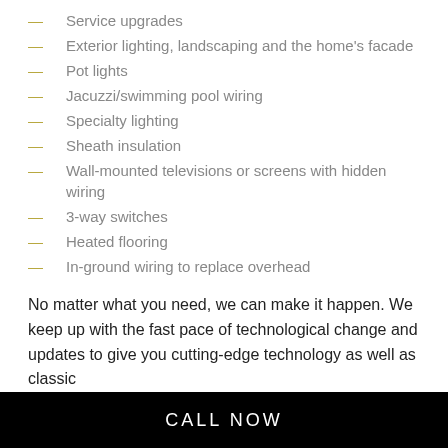Service upgrades
Exterior lighting, landscaping and the home's facade
Pot lights
Jacuzzi/swimming pool wiring
Specialty lighting
Sheath insulation
Wall-mounted televisions or screens with hidden wiring
3-way switches
Heated flooring
In-ground wiring to replace overhead
No matter what you need, we can make it happen. We keep up with the fast pace of technological change and updates to give you cutting-edge technology as well as classic
CALL NOW